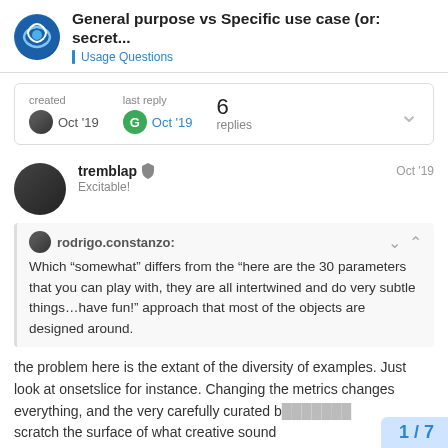General purpose vs Specific use case (or: secret... | Usage Questions
| created | last reply | 6 replies |
| --- | --- | --- |
| Oct '19 | Oct '19 |  |
tremblap  Excitable!   Oct '19
rodrigo.constanzo:
Which “somewhat” differs from the “here are the 30 parameters that you can play with, they are all intertwined and do very subtle things…have fun!” approach that most of the objects are designed around.
the problem here is the extant of the diversity of examples. Just look at onsetslice for instance. Changing the metrics changes everything, and the very carefully curated b[...] scratch the surface of what creative sound
1 / 7